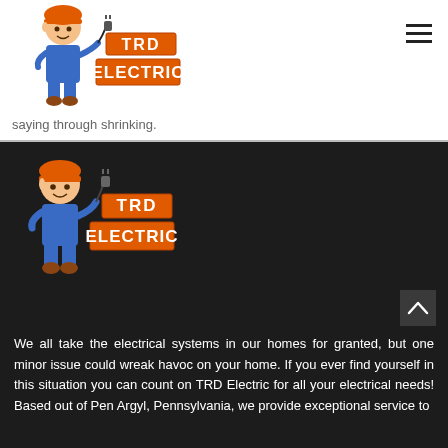[Figure (logo): TRD Electric logo with cartoon electrician character holding a plug, with text TRD ELECTRIC in orange block letters]
saying through shrinking.
[Figure (logo): TRD Electric logo repeated on dark background section]
We all take the electrical systems in our homes for granted, but one minor issue could wreak havoc on your home. If you ever find yourself in this situation you can count on TRD Electric for all your electrical needs! Based out of Pen Argyl, Pennsylvania, we provide exceptional service to